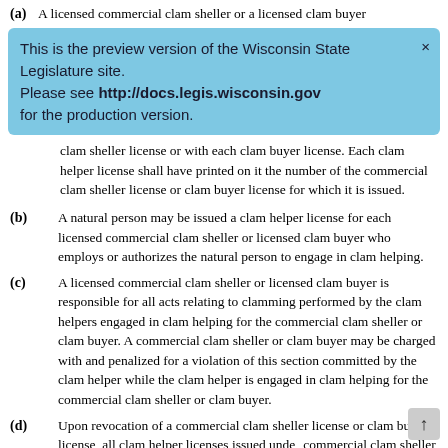(a) A licensed commercial clam sheller or a licensed clam buyer
This is the preview version of the Wisconsin State Legislature site. Please see http://docs.legis.wisconsin.gov for the production version.
clam sheller license or with each clam buyer license. Each clam helper license shall have printed on it the number of the commercial clam sheller license or clam buyer license for which it is issued.
(b) A natural person may be issued a clam helper license for each licensed commercial clam sheller or licensed clam buyer who employs or authorizes the natural person to engage in clam helping.
(c) A licensed commercial clam sheller or licensed clam buyer is responsible for all acts relating to clamming performed by the clam helpers engaged in clam helping for the commercial clam sheller or clam buyer. A commercial clam sheller or clam buyer may be charged with and penalized for a violation of this section committed by the clam helper while the clam helper is engaged in clam helping for the commercial clam sheller or clam buyer.
(d) Upon revocation of a commercial clam sheller license or clam buyer license, all clam helper licenses issued under the commercial clam sheller license or the clam buyer license